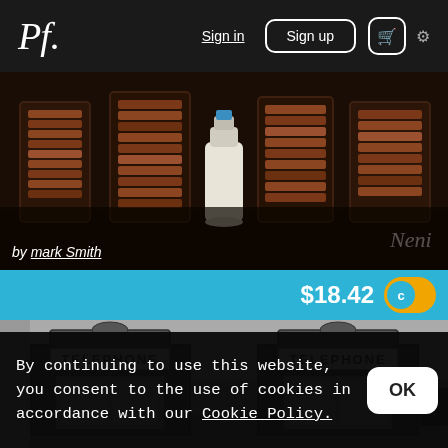Pf. | Sign in | Sign up | [cart] [settings]
[Figure (photo): Close-up photo of jars filled with stacked biscuits/cookies and a milk bottle in the center, dark background]
by mark Smith
$18.42
[Figure (photo): Black and white photo of two classic British red telephone boxes with 'TELEPHONE' signage]
By continuing to use this website, you consent to the use of cookies in accordance with our Cookie Policy.
OK